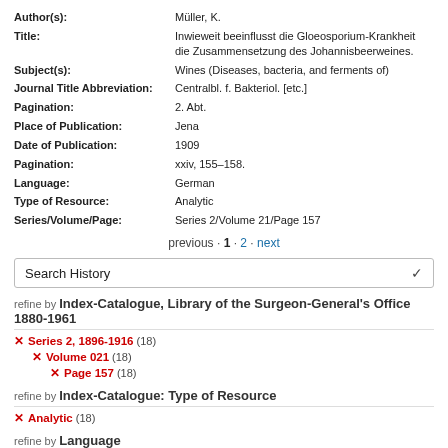| Author(s): | Müller, K. |
| Title: | Inwieweit beeinflusst die Gloeosporium-Krankheit die Zusammensetzung des Johannisbeerweines. |
| Subject(s): | Wines (Diseases, bacteria, and ferments of) |
| Journal Title Abbreviation: | Centralbl. f. Bakteriol. [etc.] |
| Pagination: | 2. Abt. |
| Place of Publication: | Jena |
| Date of Publication: | 1909 |
| Pagination: | xxiv, 155-158. |
| Language: | German |
| Type of Resource: | Analytic |
| Series/Volume/Page: | Series 2/Volume 21/Page 157 |
previous · 1 · 2 · next
Search History
refine by Index-Catalogue, Library of the Surgeon-General's Office 1880-1961
× Series 2, 1896-1916 (18)
× Volume 021 (18)
× Page 157 (18)
refine by Index-Catalogue: Type of Resource
× Analytic (18)
refine by Language
× German (18)